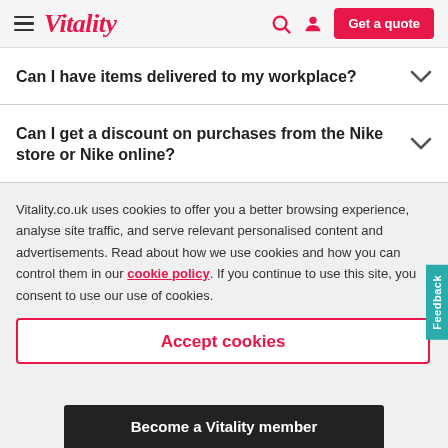Vitality — Get a quote
Can I have items delivered to my workplace?
Can I get a discount on purchases from the Nike store or Nike online?
Vitality.co.uk uses cookies to offer you a better browsing experience, analyse site traffic, and serve relevant personalised content and advertisements. Read about how we use cookies and how you can control them in our cookie policy. If you continue to use this site, you consent to use our use of cookies.
Accept cookies
Become a Vitality member